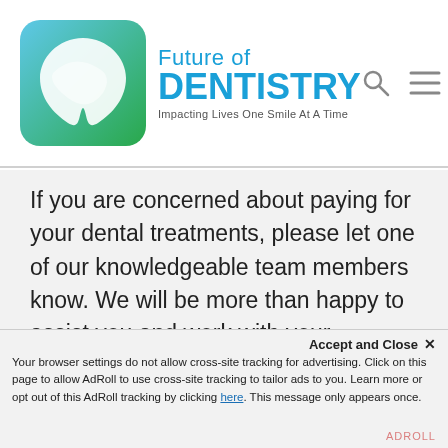Future of DENTISTRY — Impacting Lives One Smile At A Time
If you are concerned about paying for your dental treatments, please let one of our knowledgeable team members know. We will be more than happy to assist you and work with your budgetary needs.
We encourage you to contact our office today and take advantage of our flexible financing options. You and your family's oral care are in
Accept and Close ✕
Your browser settings do not allow cross-site tracking for advertising. Click on this page to allow AdRoll to use cross-site tracking to tailor ads to you. Learn more or opt out of this AdRoll tracking by clicking here. This message only appears once.